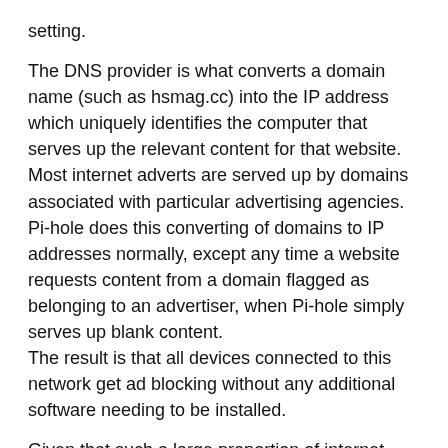setting.
The DNS provider is what converts a domain name (such as hsmag.cc) into the IP address which uniquely identifies the computer that serves up the relevant content for that website. Most internet adverts are served up by domains associated with particular advertising agencies. Pi-hole does this converting of domains to IP addresses normally, except any time a website requests content from a domain flagged as belonging to an advertiser, when Pi-hole simply serves up blank content.
The result is that all devices connected to this network get ad blocking without any additional software needing to be installed.
Given that such a large proportion of internet traffic can be adverts, using Pi-hole can speed up your internet browsing speeds on any Pi. However, the new model should give you DNS results quicker, especially if you